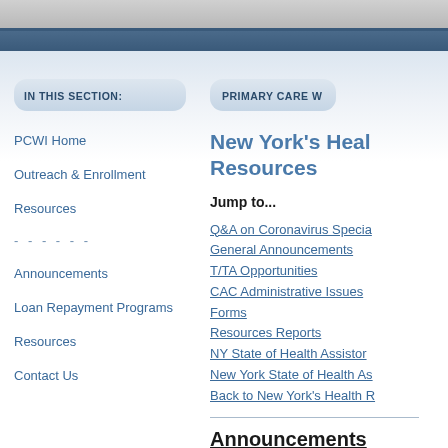IN THIS SECTION:
PRIMARY CARE W
PCWI Home
Outreach & Enrollment
Resources
Announcements
Loan Repayment Programs
Resources
Contact Us
New York's Health Resources
Jump to...
Q&A on Coronavirus Specia
General Announcements
T/TA Opportunities
CAC Administrative Issues
Forms
Resources Reports
NY State of Health Assistor
New York State of Health As
Back to New York's Health R
Announcements